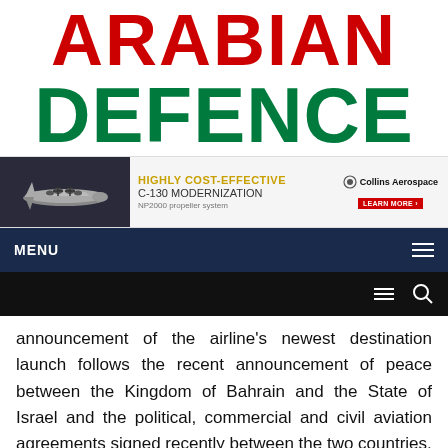ARABIAN DEFENCE
[Figure (infographic): Collins Aerospace advertisement banner for C-130 Modernization with NP2000 propeller system. Shows a C-130 aircraft on the left. Text: HIGHLY COST-EFFECTIVE C-130 MODERNIZATION NP2000 propeller system. Collins Aerospace logo on right with LEARN MORE button.]
MENU
announcement of the airline's newest destination launch follows the recent announcement of peace between the Kingdom of Bahrain and the State of Israel and the political, commercial and civil aviation agreements signed recently between the two countries.
Alzayani commented: "We are delighted to announce the launch of our Bahrain – Tel Aviv route as part of the